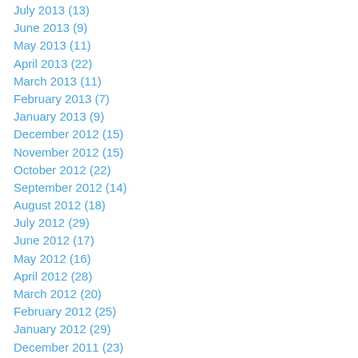July 2013 (13)
June 2013 (9)
May 2013 (11)
April 2013 (22)
March 2013 (11)
February 2013 (7)
January 2013 (9)
December 2012 (15)
November 2012 (15)
October 2012 (22)
September 2012 (14)
August 2012 (18)
July 2012 (29)
June 2012 (17)
May 2012 (16)
April 2012 (28)
March 2012 (20)
February 2012 (25)
January 2012 (29)
December 2011 (23)